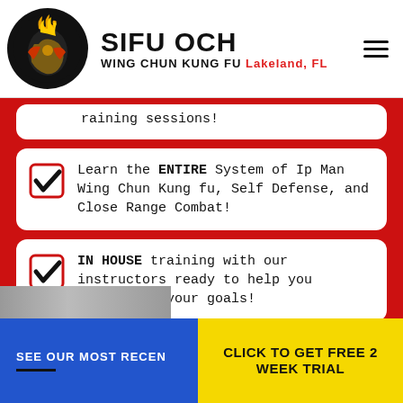SIFU OCH WING CHUN KUNG FU Lakeland, FL
training sessions!
Learn the ENTIRE System of Ip Man Wing Chun Kung fu, Self Defense, and Close Range Combat!
IN HOUSE training with our instructors ready to help you accomplish your goals!
IN HOUSE Group fitness classes, body weight loss training, and free weight training
DISCOUNTED FAMILY RATES if you decide to sign up for a full time studio membership!
SEE OUR MOST RECEN
CLICK TO GET FREE 2 WEEK TRIAL